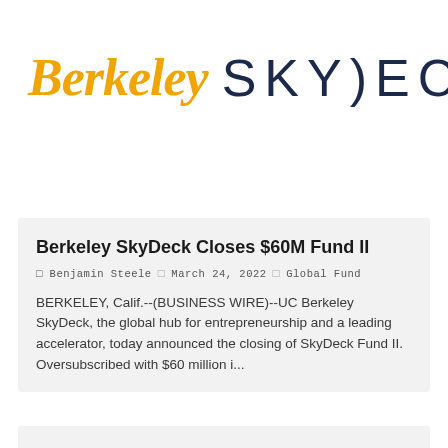[Figure (logo): Berkeley SkyDeck logo: 'Berkeley' in italic gold serif font and 'SKYDECK' in dark navy spaced sans-serif uppercase letters]
Berkeley SkyDeck Closes $60M Fund II
Benjamin Steele  March 24, 2022  Global Fund
BERKELEY, Calif.--(BUSINESS WIRE)--UC Berkeley SkyDeck, the global hub for entrepreneurship and a leading accelerator, today announced the closing of SkyDeck Fund II. Oversubscribed with $60 million i...